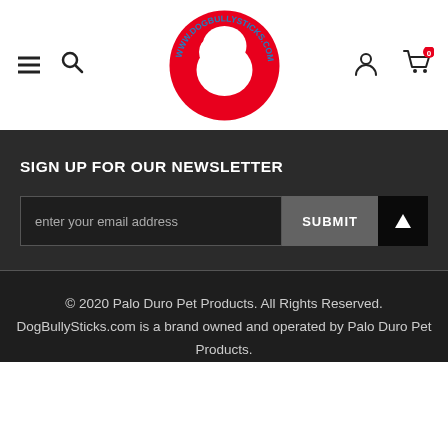[Figure (logo): DogBullySticks.com logo: red circle with white dog silhouette and blue arc text reading WWW.DOGBULLYSTICKS.COM]
SIGN UP FOR OUR NEWSLETTER
enter your email address
SUBMIT
© 2020 Palo Duro Pet Products. All Rights Reserved. DogBullySticks.com is a brand owned and operated by Palo Duro Pet Products.